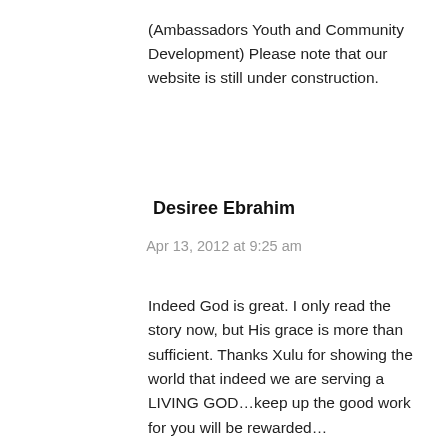(Ambassadors Youth and Community Development) Please note that our website is still under construction.
Desiree Ebrahim
Apr 13, 2012 at 9:25 am
Indeed God is great. I only read the story now, but His grace is more than sufficient. Thanks Xulu for showing the world that indeed we are serving a LIVING GOD…keep up the good work for you will be rewarded…